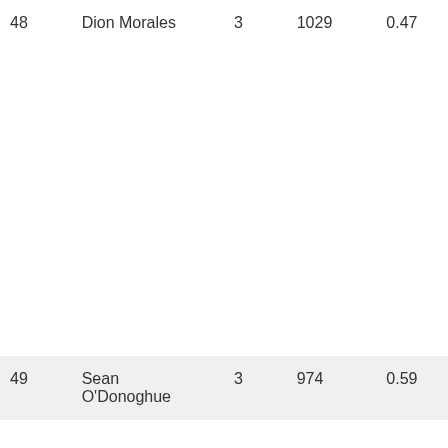| 48 | Dion Morales | 3 | 1029 | 0.47 |
| 49 | Sean O'Donoghue | 3 | 974 | 0.59 |